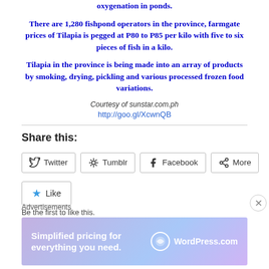oxygenation in ponds.
There are 1,280 fishpond operators in the province, farmgate prices of Tilapia is pegged at P80 to P85 per kilo with five to six pieces of fish in a kilo.
Tilapia in the province is being made into an array of products by smoking, drying, pickling and various processed frozen food variations.
Courtesy of sunstar.com.ph
http://goo.gl/XcwnQB
Share this:
Twitter
Tumblr
Facebook
More
Like
Be the first to like this.
Advertisements
[Figure (screenshot): WordPress.com advertisement banner: 'Simplified pricing for everything you need.' with WordPress.com logo]